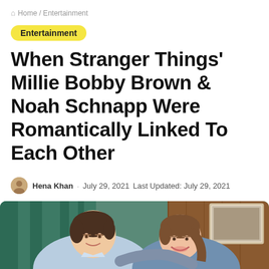Home / Entertainment
Entertainment
When Stranger Things' Millie Bobby Brown & Noah Schnapp Were Romantically Linked To Each Other
Hena Khan · July 29, 2021 Last Updated: July 29, 2021
[Figure (photo): Noah Schnapp and Millie Bobby Brown smiling together at an event, with a green curtain and wooden wall with framed photo in background]